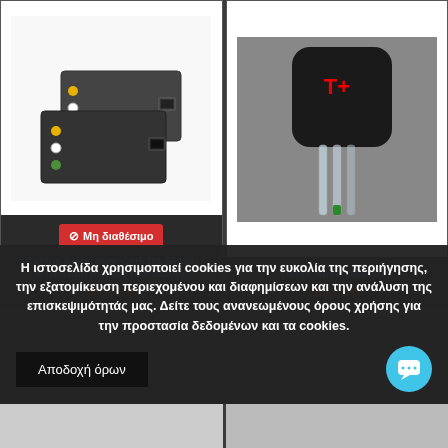[Figure (photo): Digitus Audio over Cat5 DS-56100 extension module product photo showing two dark grey audio extender boxes with RCA connectors and RJ45 ports]
⊘ Μη διαθέσιμο
Digitus Audio over Cat5 DS-56100, extension module (DS-56100)
47,75 €
[Figure (photo): Glass fiber modem 2 product photo showing a black square modem device with fiber optic cables connected]
Glass fiber modem 2
54,08 €
Η ιστοσελίδα χρησιμοποιεί cookies για την ευκολία της περιήγησης, την εξατομίκευση περιεχομένου και διαφημίσεων και την ανάλυση της επισκεψιμότητάς μας. Δείτε τους ανανεωμένους όρους χρήσης για την προστασία δεδομένων και τα cookies.
Αποδοχή όρων